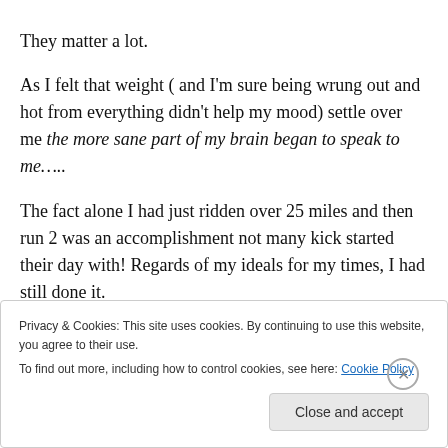They matter a lot.
As I felt that weight ( and I'm sure being wrung out and hot from everything didn't help my mood) settle over me the more sane part of my brain began to speak to me…..
The fact alone I had just ridden over 25 miles and then run 2 was an accomplishment not many kick started their day with! Regards of my ideals for my times, I had still done it.
Privacy & Cookies: This site uses cookies. By continuing to use this website, you agree to their use. To find out more, including how to control cookies, see here: Cookie Policy
Close and accept